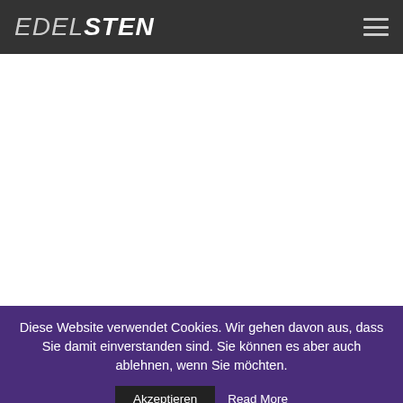EDELSTEN
Diese Website verwendet Cookies. Wir gehen davon aus, dass Sie damit einverstanden sind. Sie können es aber auch ablehnen, wenn Sie möchten.
Akzeptieren
Read More